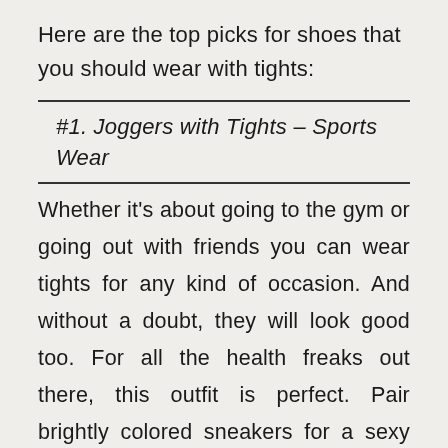Here are the top picks for shoes that you should wear with tights:
#1. Joggers with Tights – Sports Wear
Whether it's about going to the gym or going out with friends you can wear tights for any kind of occasion. And without a doubt, they will look good too. For all the health freaks out there, this outfit is perfect. Pair brightly colored sneakers for a sexy outfit that is practical and sporty.You can also see